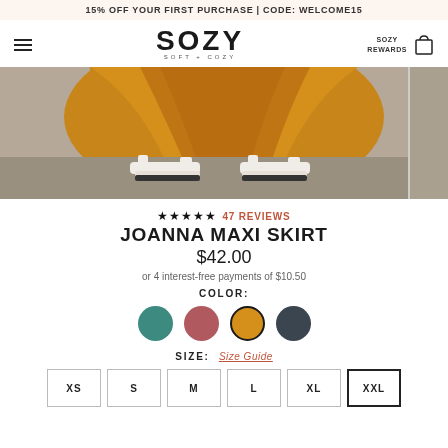15% OFF YOUR FIRST PURCHASE | CODE: WELCOME15
[Figure (logo): SOZY logo with hamburger menu, rewards link, and shopping bag icon]
[Figure (photo): Close-up photo of a person wearing a mustard/golden yellow maxi skirt with white sandals on a concrete surface]
★★★★★ 47 REVIEWS
JOANNA MAXI SKIRT
$42.00
or 4 interest-free payments of $10.50
COLOR:
[Figure (other): Four color swatches: teal, rose/dusty pink, mustard (selected with border), and dark navy]
SIZE:  Size Guide
Size buttons: XS, S, M, L, XL, XXL (XXL selected)